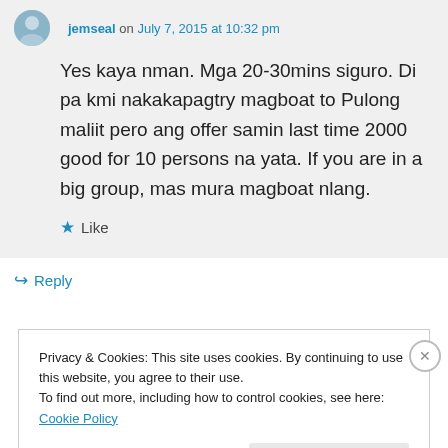jemseal on July 7, 2015 at 10:32 pm
Yes kaya nman. Mga 20-30mins siguro. Di pa kmi nakakapagtry magboat to Pulong maliit pero ang offer samin last time 2000 good for 10 persons na yata. If you are in a big group, mas mura magboat nlang.
★ Like
↳ Reply
Privacy & Cookies: This site uses cookies. By continuing to use this website, you agree to their use.
To find out more, including how to control cookies, see here: Cookie Policy
Close and accept